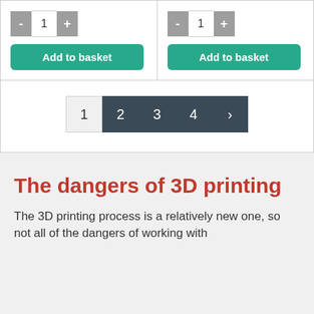[Figure (screenshot): E-commerce product quantity controls with minus and plus buttons showing value 1, on the left column]
[Figure (screenshot): Green 'Add to basket' button in left product column]
[Figure (screenshot): E-commerce product quantity controls with minus and plus buttons showing value 1, on the right column]
[Figure (screenshot): Green 'Add to basket' button in right product column]
[Figure (screenshot): Pagination control showing pages 1 (current, light), 2, 3, 4, and next arrow (dark background)]
The dangers of 3D printing
The 3D printing process is a relatively new one, so not all of the dangers of working with